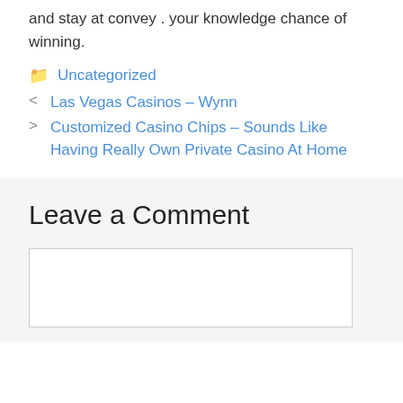and stay at convey . your knowledge chance of winning.
Uncategorized
< Las Vegas Casinos – Wynn
> Customized Casino Chips – Sounds Like Having Really Own Private Casino At Home
Leave a Comment